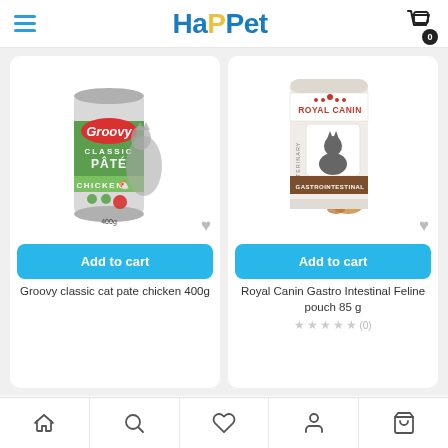HaPPet
[Figure (photo): Groovy Classic Pâté Chicken cat food can 400g with a grey cat]
[Figure (photo): Royal Canin Gastrointestinal Feline pouch 85g]
Add to cart
Add to cart
Groovy classic cat pate chicken 400g
Royal Canin Gastro Intestinal Feline pouch 85 g
(0)
Home | Search | Favorites | Account | Cart